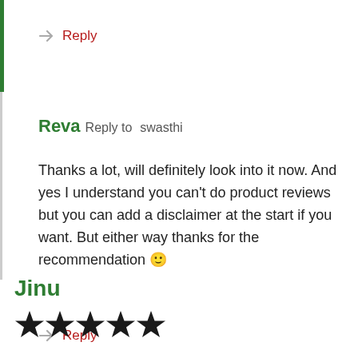Reply
Reva Reply to swasthi
Thanks a lot, will definitely look into it now. And yes I understand you can't do product reviews but you can add a disclaimer at the start if you want. But either way thanks for the recommendation 🙂
Reply
Jinu
[Figure (other): 5 filled black stars rating]